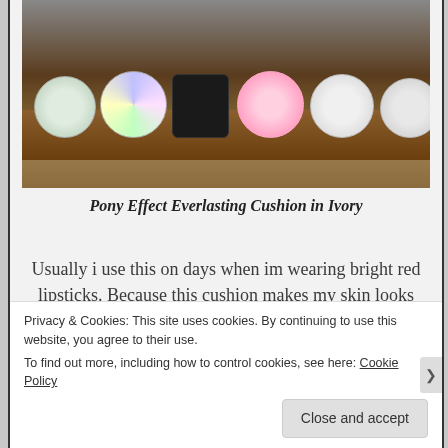[Figure (photo): Six cushion compact makeup products arranged on a wooden shelf, viewed from above. Products include various brands with round cases in green, holographic/rainbow, black square, pink floral, white, and silver/grey designs.]
Pony Effect Everlasting Cushion in Ivory
Usually i use this on days when im wearing bright red lipsticks. Because this cushion makes my skin looks really fair which compliments with my red lipsticks. Also it will make your skin
Privacy & Cookies: This site uses cookies. By continuing to use this website, you agree to their use.
To find out more, including how to control cookies, see here: Cookie Policy
Close and accept